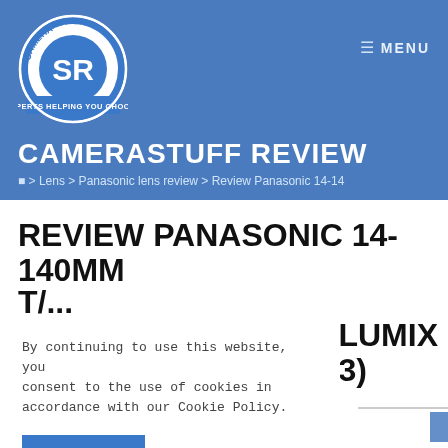[Figure (logo): CameraStuff Review circular logo with 'SR' letters and text 'EXPERTS HELPING YOU CHOOSE']
MENU
CAMERASTUFF REVIEW
🏠 > Lens > Panasonic lens review > Review Panasonic 14-14
REVIEW PANASONIC 14-140MM T/... LUMIX 3)
By continuing to use this website, you consent to the use of cookies in accordance with our Cookie Policy.
ACCEPT